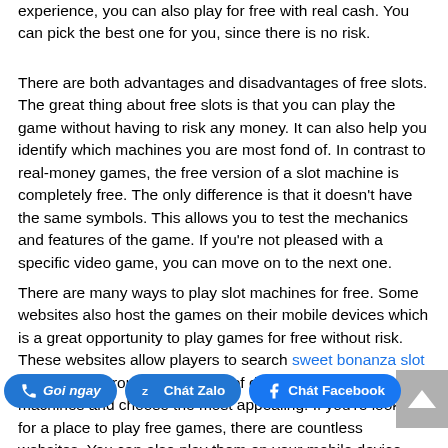experience, you can also play for free with real cash. You can pick the best one for you, since there is no risk.
There are both advantages and disadvantages of free slots. The great thing about free slots is that you can play the game without having to risk any money. It can also help you identify which machines you are most fond of. In contrast to real-money games, the free version of a slot machine is completely free. The only difference is that it doesn't have the same symbols. This allows you to test the mechanics and features of the game. If you're not pleased with a specific video game, you can move on to the next one.
There are many ways to play slot machines for free. Some websites also host the games on their mobile devices which is a great opportunity to play games for free without risk. These websites allow players to search sweet bonanza slot real money through thousands of different types of free slot machines and choose the most appealing. If you're looking for a place to play free games, there are countless websites. You can also play them on your mobile device using apps.
[Figure (other): Three chat/contact buttons overlaid on the page bottom: a phone 'Goi ngay' button, a Zalo 'Chat Zalo' button, and a Facebook 'Chat Facebook' button, all in blue with rounded pill shape.]